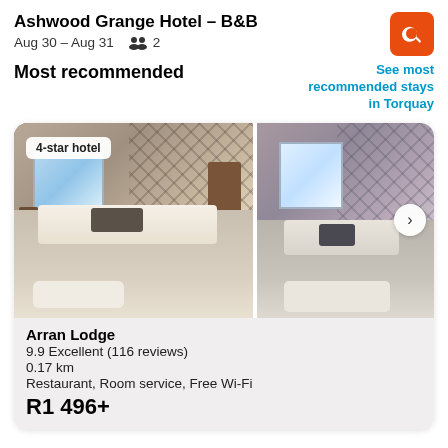Ashwood Grange Hotel – B&B | Aug 30 – Aug 31 | 2 guests
Most recommended
See most recommended stays in Torquay
[Figure (photo): Hotel room photos showing bedroom with plaid wallpaper, double bed with white pillows and towels, and window with curtains. Two side-by-side photos. Badge reads '4-star hotel'. Navigation arrow on right.]
Arran Lodge
9.9 Excellent (116 reviews)
0.17 km
Restaurant, Room service, Free Wi-Fi
R1 496+